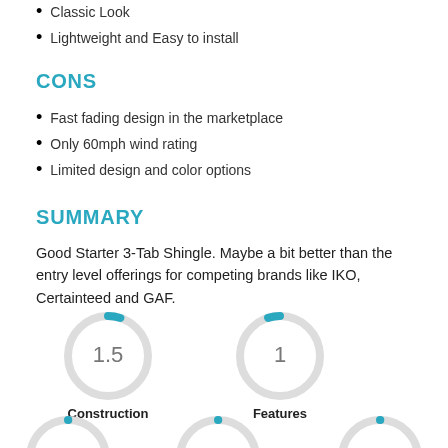Classic Look
Lightweight and Easy to install
CONS
Fast fading design in the marketplace
Only 60mph wind rating
Limited design and color options
SUMMARY
Good Starter 3-Tab Shingle. Maybe a bit better than the entry level offerings for competing brands like IKO, Certainteed and GAF.
[Figure (donut-chart): Construction]
[Figure (donut-chart): Features]
[Figure (donut-chart): Partially visible donut chart at bottom left]
[Figure (donut-chart): Partially visible donut chart at bottom center]
[Figure (donut-chart): Partially visible donut chart at bottom right]